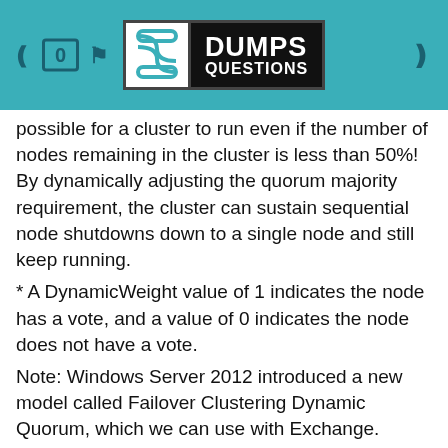DumpsQuestions logo header
possible for a cluster to run even if the number of nodes remaining in the cluster is less than 50%! By dynamically adjusting the quorum majority requirement, the cluster can sustain sequential node shutdowns down to a single node and still keep running.
* A DynamicWeight value of 1 indicates the node has a vote, and a value of 0 indicates the node does not have a vote.
Note: Windows Server 2012 introduced a new model called Failover Clustering Dynamic Quorum, which we can use with Exchange. When using Dynamic Quorum, the cluster dynamically manages the vote assignment to nodes based on the state of each node.
When a node shuts down or crashes, it loses its quorum vote. When a node successfully re-joins the cluster, it regains its quorum vote. By dynamically adjusting the